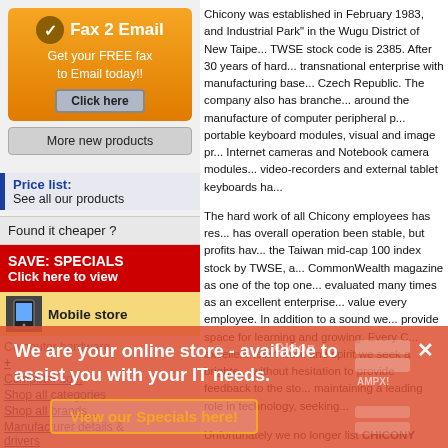[Figure (advertisement): Fax 2 Email advertisement with orange gradient background, checkmark icon, text 'Get your FREE fax to Email today!!' and a 'Click here' button]
More new products
Price list: See all our products
Found it cheaper ?
SAVE: SPECIALS Click here to view
Mobile store
Computer hardware
+ Computer so...
Shop all categories
Shop all brands ..
Manufacturer details & drivers
Chicony was established in February 1983, and Industrial Park" in the Wugu District of New Taipe... TWSE stock code is 2385. After 30 years of hard... transnational enterprise with manufacturing base... Czech Republic. The company also has branche... around the manufacture of computer peripheral p... portable keyboard modules, visual and image pr... Internet cameras and Notebook camera modules... video-recorders and external tablet keyboards ha...
The hard work of all Chicony employees has res... has overall operation been stable, but profits hav... the Taiwan mid-cap 100 index stock by TWSE, a... CommonWealth magazine as one of the top one... evaluated many times as an excellent enterprise... value every employee. In addition to a sound we... provide space for learning and growing. Every C... excellent team work and spirit we seek a brighte... without hesitation to provide feedback to the sto... maintaining a leading role in technology, seeking...
Unfortunately we no longer list CHICONY produ...
[Figure (screenshot): Overlay popup with red-orange background showing message: 'We are your online store - available to assist you with your IT needs.' and a 'View our Specials here!' button, with various brand pill shapes and a close X button]